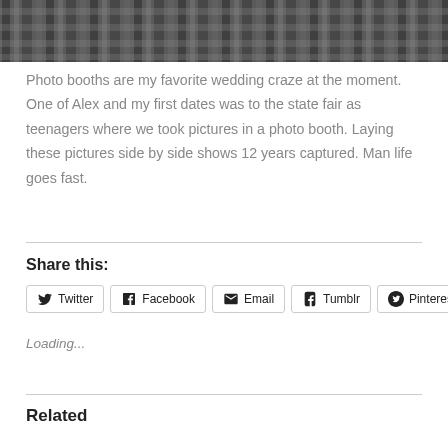[Figure (photo): Cropped black and white photo at top of page showing a person behind what appears to be a railing or fence with rope-like decorations]
Photo booths are my favorite wedding craze at the moment. One of Alex and my first dates was to the state fair as teenagers where we took pictures in a photo booth. Laying these pictures side by side shows 12 years captured. Man life goes fast.
Share this:
Twitter Facebook Email Tumblr Pinterest
Loading...
Related